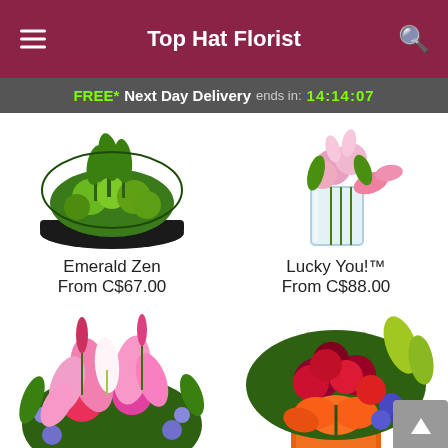Top Hat Florist
FREE* Next Day Delivery ends in: 14:14:07
[Figure (photo): Green flower arrangement in a black bowl - Emerald Zen]
Emerald Zen
From C$67.00
[Figure (photo): Pink lilies in a glass vase - Lucky You!]
Lucky You!™
From C$88.00
[Figure (photo): Pink and purple mixed flower bouquet with lilies and gerberas]
[Figure (photo): Red and orange flower arrangement with roses and orange lilies in orange vase]